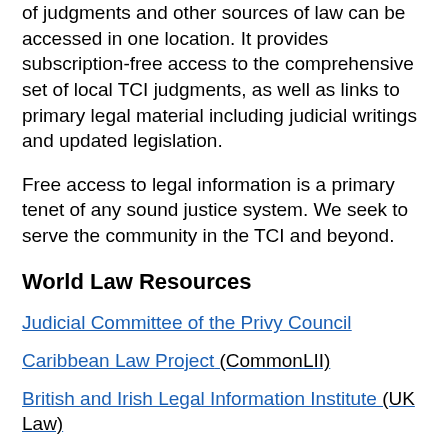of judgments and other sources of law can be accessed in one location. It provides subscription-free access to the comprehensive set of local TCI judgments, as well as links to primary legal material including judicial writings and updated legislation.
Free access to legal information is a primary tenet of any sound justice system. We seek to serve the community in the TCI and beyond.
World Law Resources
Judicial Committee of the Privy Council
Caribbean Law Project (CommonLII)
British and Irish Legal Information Institute (UK Law)
Legal Information Institute (US Law)
Canadian Legal Information Institute (CanLII)
African Legal Information Institute (AfricanLII)
[Figure (illustration): Partial view of a flag with Union Jack design (blue, red, white) — likely the Turks and Caicos Islands flag]